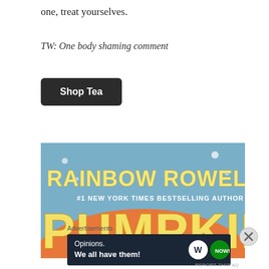one, treat yourselves.
TW: One body shaming comment
[Figure (other): Dark button labeled 'Shop Tea']
[Figure (illustration): Book cover for 'Pumpkin' by Rainbow Rowell, #1 New York Times Bestselling Author. Illustrated cover with colorful text on teal/orange background.]
Advertisements
[Figure (other): WordPress advertisement bar: 'Opinions. We all have them!' with WordPress and Jetpack logos on dark navy background.]